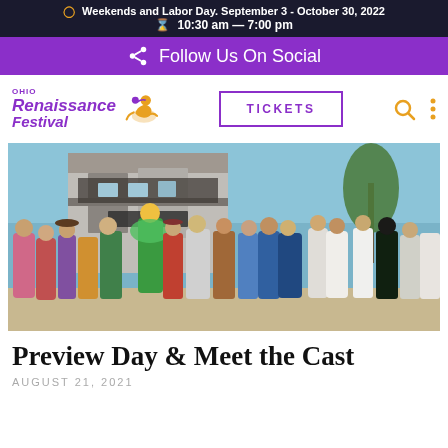Weekends and Labor Day. September 3 - October 30, 2022
10:30 am — 7:00 pm
Follow Us On Social
[Figure (logo): Ohio Renaissance Festival logo with knight on horseback, purple text and orange horse illustration]
TICKETS
[Figure (photo): Outdoor photo of Renaissance Festival cast members in colorful period costumes gathered in front of a castle-like building]
Preview Day & Meet the Cast
AUGUST 21, 2021